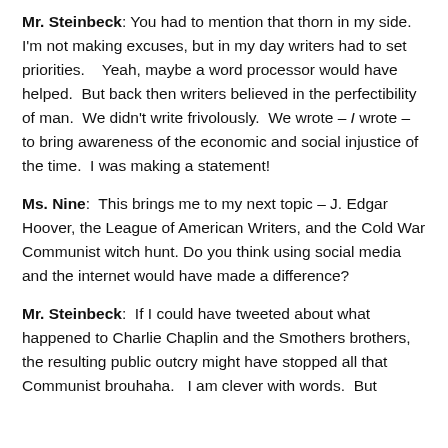Mr. Steinbeck: You had to mention that thorn in my side. I'm not making excuses, but in my day writers had to set priorities.   Yeah, maybe a word processor would have helped.  But back then writers believed in the perfectibility of man.  We didn't write frivolously.  We wrote – I wrote – to bring awareness of the economic and social injustice of the time.  I was making a statement!
Ms. Nine: This brings me to my next topic – J. Edgar Hoover, the League of American Writers, and the Cold War Communist witch hunt. Do you think using social media and the internet would have made a difference?
Mr. Steinbeck: If I could have tweeted about what happened to Charlie Chaplin and the Smothers brothers, the resulting public outcry might have stopped all that Communist brouhaha.   I am clever with words.  But